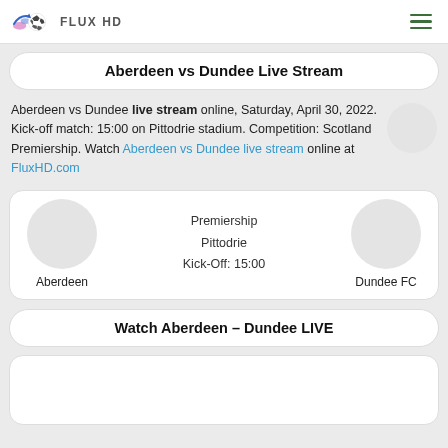FLUX HD
Aberdeen vs Dundee Live Stream
Aberdeen vs Dundee live stream online, Saturday, April 30, 2022. Kick-off match: 15:00 on Pittodrie stadium. Competition: Scotland Premiership. Watch Aberdeen vs Dundee live stream online at FluxHD.com
[Figure (infographic): Match card showing Aberdeen vs Dundee FC with team logos, competition: Premiership, venue: Pittodrie, Kick-Off: 15:00]
Watch Aberdeen – Dundee LIVE
[Figure (screenshot): Partial bottom card, content not visible]